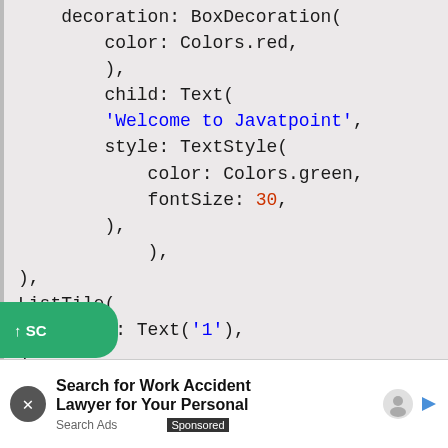decoration: BoxDecoration(
    color: Colors.red,
    ),
    child: Text(
    'Welcome to Javatpoint',
    style: TextStyle(
        color: Colors.green,
        fontSize: 30,
    ),
        ),
),
ListTile(
    title: Text('1'),
)
Search for Work Accident Lawyer for Your Personal | Search Ads | Sponsored